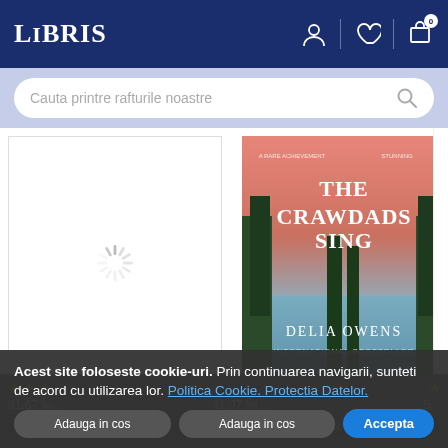LIBRIS
Cauta printre rafturile noastre
[Figure (other): Loading spinner placeholder for a book cover]
Reunion - Guillaume Musso
[Figure (photo): Book cover: Where the Crawdads Sing by Delia Owens - pink/blue swamp scene]
Where the Crawdads Sing - Delia Owens
Acest site foloseste cookie-uri. Prin continuarea navigarii, sunteti de acord cu utilizarea lor. Politica Cookie. Protectia Datelor.
Accepta